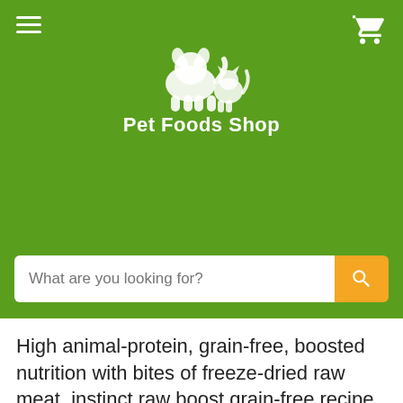[Figure (logo): Pet Foods Shop logo with white dog and cat silhouettes on green background, with text 'Pet Foods Shop']
High animal-protein, grain-free, boosted nutrition with bites of freeze-dried raw meat, instinct raw boost grain-free recipe with real beef is a better way to feed kibble. Unlock your dog's potential to thrive and put more of the pure, real nutrition of raw into every bowl. Boosted nutrition - grain-free, high protein kibble + freeze-dried raw. USA-raised beef is the first ingredient - packed with animal protein for strong, lean muscles. Freeze-dried raw - all natural, protein-packed, minimally processed bites of real beef. Probiotic boost with omegas* and more antioxidants* for digestive health, healthy skin & coat, and immune health (*compared to instinct